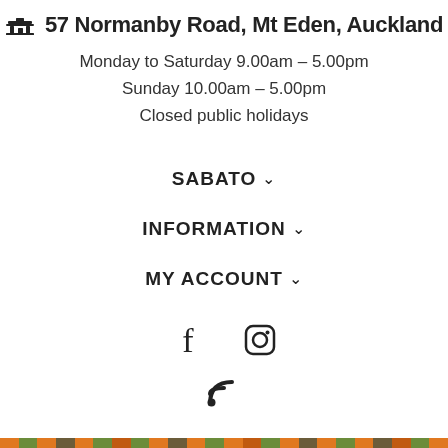57 Normanby Road, Mt Eden, Auckland
Monday to Saturday 9.00am – 5.00pm
Sunday 10.00am – 5.00pm
Closed public holidays
SABATO
INFORMATION
MY ACCOUNT
[Figure (infographic): Social media icons: Facebook, Instagram, and RSS feed icons centered on the page]
[Figure (infographic): Footer strip of small colored squares alternating orange, green, brown pattern]